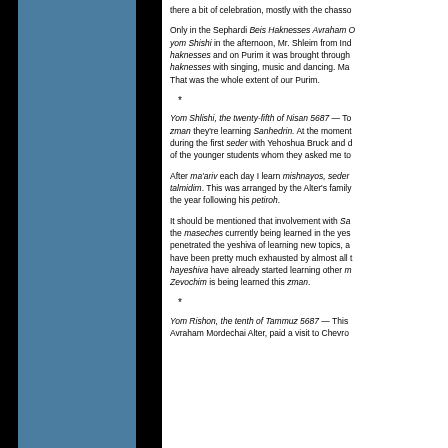there a bit of celebration, mostly with the chass...
Only in the Sephardi Beis Haknesses Avraham O... yom Shishi in the afternoon, Mr. Shleim from Ind... haknesses and on Purim it was brought through... haknesses with singing, music and dancing. Ma... That was the whole extent of our Purim.
*
Yom Shlishi, the twenty-fifth of Nisan 5687 — To... zman they're learning Sanhedrin. At the moment... during the first seder with Yehoshua Bruck and d... of the younger students whom they asked me to...
After ma'ariv each day I learn mishnayos, seder... talmidim. This was arranged by the Alter's family... the year following his petiroh.
It should be mentioned that involvement with Sa... the maseches currently being learned in the yes... penetrated the yeshiva of learning new topics, a... have been pretty much exhausted by almost all t... hayeshiva have already started learning other m... Zevochim is being learned this zman.
*
Yom Rishon, the tenth of Tammuz 5687 — This... Avraham Mordechai Alter, paid a visit to Chevron...